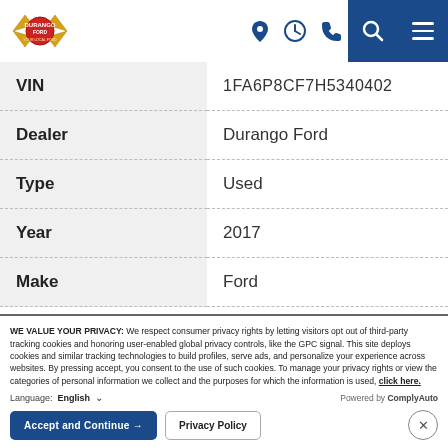Durango Ford dealer website header with logo, location, clock, phone icons, search and menu buttons
| Field | Value |
| --- | --- |
| VIN | 1FA6P8CF7H5340402 |
| Dealer | Durango Ford |
| Type | Used |
| Year | 2017 |
| Make | Ford |
WE VALUE YOUR PRIVACY: We respect consumer privacy rights by letting visitors opt out of third-party tracking cookies and honoring user-enabled global privacy controls, like the GPC signal. This site deploys cookies and similar tracking technologies to build profiles, serve ads, and personalize your experience across websites. By pressing accept, you consent to the use of such cookies. To manage your privacy rights or view the categories of personal information we collect and the purposes for which the information is used, click here.
Language: English  ✓  Powered by ComplyAuto
Accept and Continue →  Privacy Policy  ×